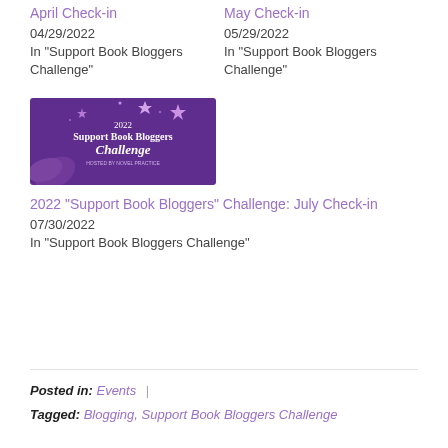April Check-in
04/29/2022
In "Support Book Bloggers Challenge"
May Check-in
05/29/2022
In "Support Book Bloggers Challenge"
[Figure (illustration): Purple banner image for 2022 Support Book Bloggers Challenge with stars and book/leaf decorations]
2022 “Support Book Bloggers” Challenge: July Check-in
07/30/2022
In "Support Book Bloggers Challenge"
Posted in: Events |
Tagged: Blogging, Support Book Bloggers Challenge